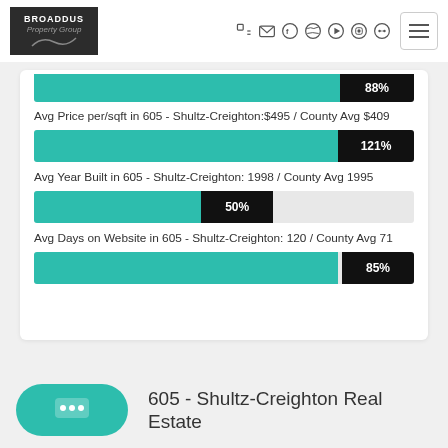[Figure (logo): Broaddus Property Group logo, dark background]
[Figure (bar-chart): Avg Price per/sqft in 605 - Shultz-Creighton: $495 / County Avg $409]
[Figure (bar-chart): Avg Year Built in 605 - Shultz-Creighton: 1998 / County Avg 1995]
[Figure (bar-chart): Avg Days on Website in 605 - Shultz-Creighton: 120 / County Avg 71]
605 - Shultz-Creighton Real Estate